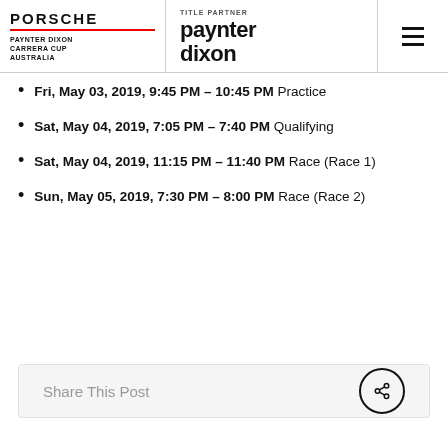PORSCHE | PAYNTER DIXON CARRERA CUP AUSTRALIA | TITLE PARTNER paynter dixon
Fri, May 03, 2019, 9:45 PM – 10:45 PM Practice
Sat, May 04, 2019, 7:05 PM – 7:40 PM Qualifying
Sat, May 04, 2019, 11:15 PM – 11:40 PM Race (Race 1)
Sun, May 05, 2019, 7:30 PM – 8:00 PM Race (Race 2)
Share This Post